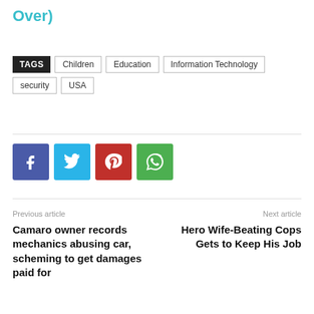Over)
TAGS  Children  Education  Information Technology  security  USA
[Figure (infographic): Social share buttons: Facebook (blue), Twitter (cyan), Pinterest (red), WhatsApp (green)]
Previous article
Next article
Camaro owner records mechanics abusing car, scheming to get damages paid for
Hero Wife-Beating Cops Gets to Keep His Job